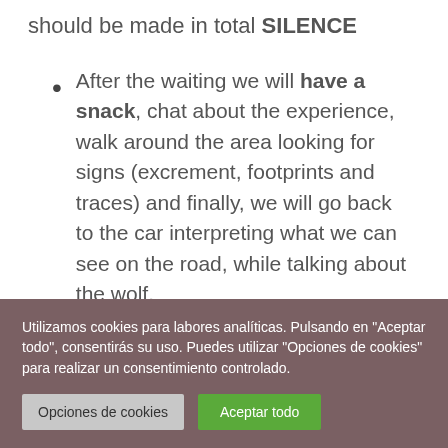should be made in total SILENCE
After the waiting we will have a snack, chat about the experience, walk around the area looking for signs (excrement, footprints and traces) and finally, we will go back to the car interpreting what we can see on the road, while talking about the wolf.
Utilizamos cookies para labores analíticas. Pulsando en "Aceptar todo", consentirás su uso. Puedes utilizar "Opciones de cookies" para realizar un consentimiento controlado.
Opciones de cookies | Aceptar todo